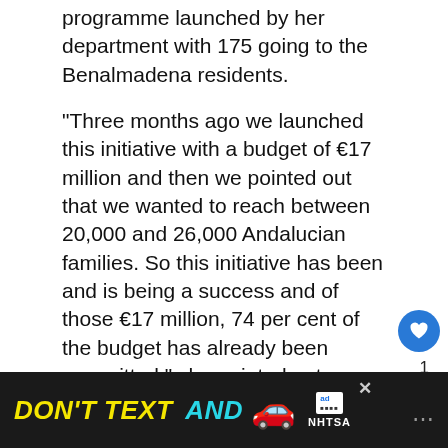programme launched by her department with 175 going to the Benalmadena residents.
“Three months ago we launched this initiative with a budget of €17 million and then we pointed out that we wanted to reach between 20,000 and 26,000 Andalucian families. So this initiative has been and is being a success and of those €17 million, 74 per cent of the budget has already been committed,” she pointed out.
Ruiz, who has visited the provincial office of the Spanish Red Cross in Malaga to meet with those responsible, including the provincial president, Luis Utrilla, has thanked “the organisation’s willingness from the beginning and its commitment to this project that is...
[Figure (infographic): Advertisement banner: DON'T TEXT AND [car emoji] with ad badge and NHTSA logo on dark background]